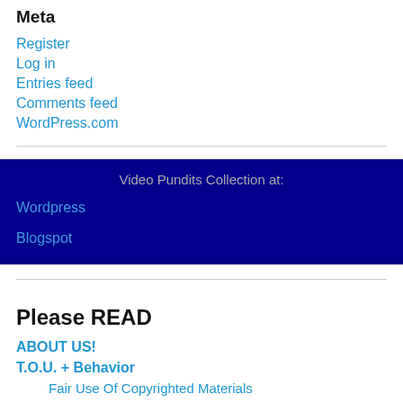Meta
Register
Log in
Entries feed
Comments feed
WordPress.com
[Figure (infographic): Dark blue box with title 'Video Pundits Collection at:' and links to Wordpress and Blogspot]
Please READ
ABOUT US!
T.O.U. + Behavior
Fair Use Of Copyrighted Materials
How To Write